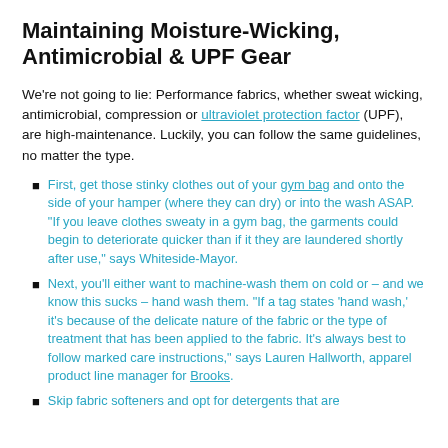Maintaining Moisture-Wicking, Antimicrobial & UPF Gear
We're not going to lie: Performance fabrics, whether sweat wicking, antimicrobial, compression or ultraviolet protection factor (UPF), are high-maintenance. Luckily, you can follow the same guidelines, no matter the type.
First, get those stinky clothes out of your gym bag and onto the side of your hamper (where they can dry) or into the wash ASAP. "If you leave clothes sweaty in a gym bag, the garments could begin to deteriorate quicker than if it they are laundered shortly after use," says Whiteside-Mayor.
Next, you'll either want to machine-wash them on cold or – and we know this sucks – hand wash them. "If a tag states 'hand wash,' it's because of the delicate nature of the fabric or the type of treatment that has been applied to the fabric. It's always best to follow marked care instructions," says Lauren Hallworth, apparel product line manager for Brooks.
Skip fabric softeners and opt for detergents that are